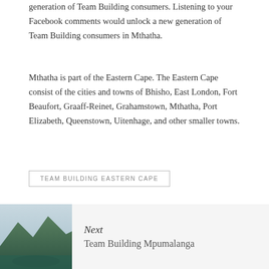generation of Team Building consumers. Listening to your Facebook comments would unlock a new generation of Team Building consumers in Mthatha.
Mthatha is part of the Eastern Cape. The Eastern Cape consist of the cities and towns of Bhisho, East London, Fort Beaufort, Graaff-Reinet, Grahamstown, Mthatha, Port Elizabeth, Queenstown, Uitenhage, and other smaller towns.
TEAM BUILDING EASTERN CAPE
[Figure (infographic): Social media share icons row: Facebook, Twitter, Pinterest, LinkedIn, WhatsApp — each in a salmon/coral circle outline, with horizontal lines flanking the group]
Next
Team Building Mpumalanga